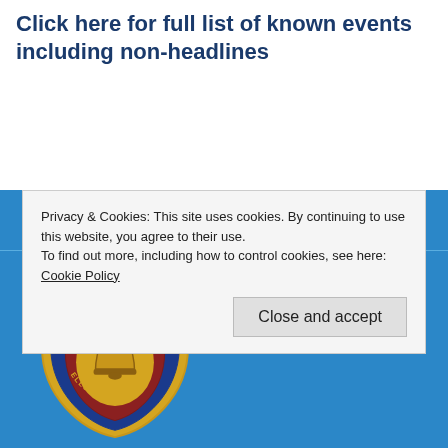Click here for full list of known events including non-headlines
[Figure (logo): Portsmouth Diocesan Guild of Church Bells shield logo with bell image, set against blue background]
Privacy & Cookies: This site uses cookies. By continuing to use this website, you agree to their use.
To find out more, including how to control cookies, see here: Cookie Policy
Close and accept